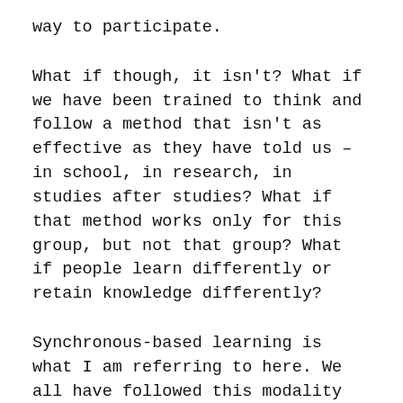way to participate.
What if though, it isn't? What if we have been trained to think and follow a method that isn't as effective as they have told us – in school, in research, in studies after studies? What if that method works only for this group, but not that group? What if people learn differently or retain knowledge differently?
Synchronous-based learning is what I am referring to here. We all have followed this modality since we entered first grade. For those who went on to grad school, the modality stayed the same. Sure, at grad level, you get projects or do quite a few independent studies with minimal interaction, or even a thesis, and at